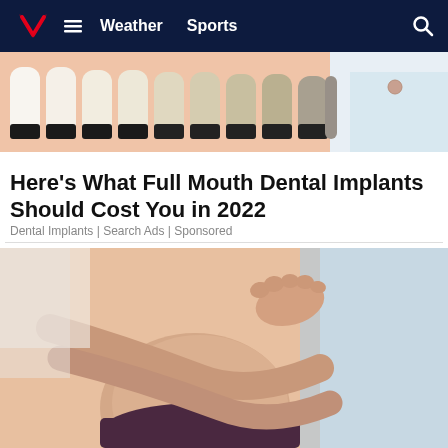Weather  Sports
[Figure (photo): Dental color shade swatches held by a person in a white coat, showing various tooth-colored samples from light to dark against a pink/skin-toned background]
Here's What Full Mouth Dental Implants Should Cost You in 2022
Dental Implants | Search Ads | Sponsored
[Figure (photo): A pregnant woman in a dark bikini bottom holding her belly, with a person in light blue clothing visible to the right]